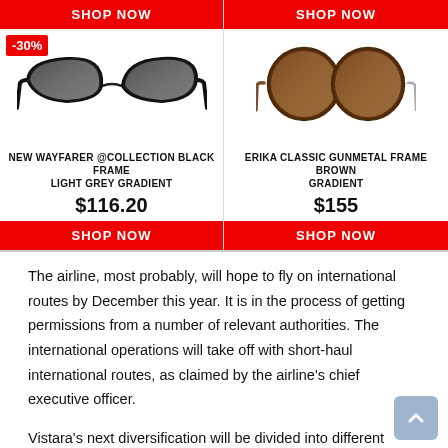[Figure (photo): Advertisement: New Wayfarer @Collection Black Frame Light Grey Gradient sunglasses with -30% discount badge, SHOP NOW button top, price $116.20, SHOP NOW button bottom]
[Figure (photo): Advertisement: Erika Classic Gunmetal Frame Brown Gradient sunglasses, SHOP NOW button top, price $155, SHOP NOW button bottom]
The airline, most probably, will hope to fly on international routes by December this year. It is in the process of getting permissions from a number of relevant authorities. The international operations will take off with short-haul international routes, as claimed by the airline's chief executive officer.
Vistara's next diversification will be divided into different areas. The Airbus fleet will handle the airline's domestic and surrounding international routes. This will assist the airline to expand within and outside the country.
Still, the Vistara wants to expand its base of national traffic, so that it